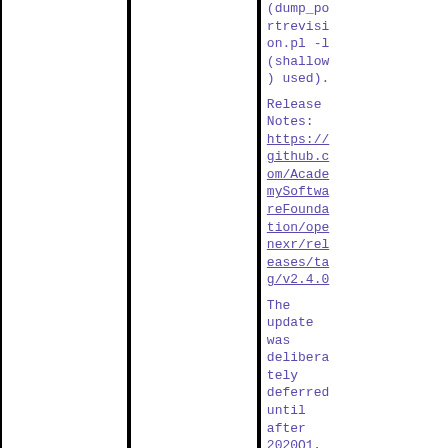(dump_portrevision.pl -l (shallow) used).
Release Notes: https://github.com/AcademySoftwareFoundation/openexr/releases/tag/v2.4.0
The update was deliberately deferred until after 2020Q1, and should not be MFH'd back to it.